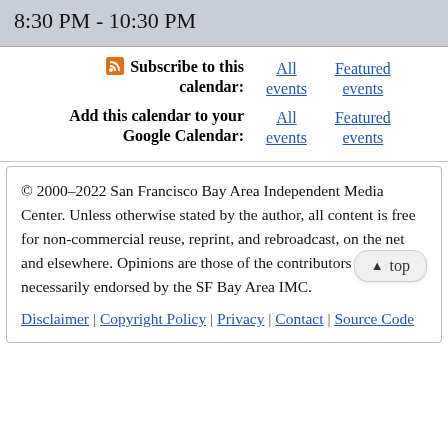8:30 PM - 10:30 PM
Subscribe to this calendar: All events | Featured events
Add this calendar to your Google Calendar: All events | Featured events
© 2000–2022 San Francisco Bay Area Independent Media Center. Unless otherwise stated by the author, all content is free for non-commercial reuse, reprint, and rebroadcast, on the net and elsewhere. Opinions are those of the contributors and are not necessarily endorsed by the SF Bay Area IMC.
Disclaimer | Copyright Policy | Privacy | Contact | Source Code